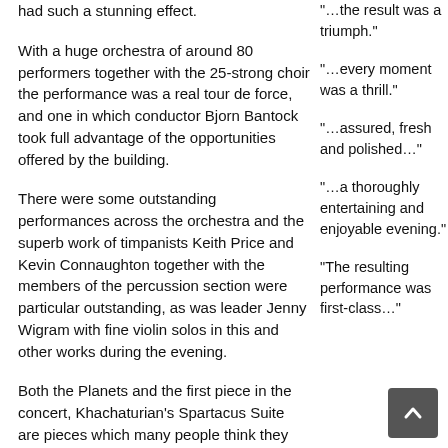had such a stunning effect.
With a huge orchestra of around 80 performers together with the 25-strong choir the performance was a real tour de force, and one in which conductor Bjorn Bantock took full advantage of the opportunities offered by the building.
There were some outstanding performances across the orchestra and the superb work of timpanists Keith Price and Kevin Connaughton together with the members of the percussion section were particular outstanding, as was leader Jenny Wigram with fine violin solos in this and other works during the evening.
Both the Planets and the first piece in the concert, Khachaturian's Spartacus Suite are pieces which many people think they know, but they are works where only small sections are regularly heard. In fact the audience's lack of
“…the result was a triumph.”
“…every moment was a thrill.”
“…assured, fresh and polished…”
“…a thoroughly entertaining and enjoyable evening.”
“The resulting performance was first-class…”